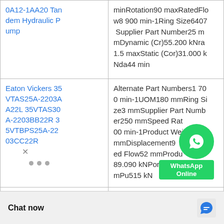| Product | Specifications |
| --- | --- |
| 0A12-1AA20 Tandem Hydraulic Pump | minRotation90 maxRatedFlow8 900 min-1Ring Size6407 Supplier Part Number25 mmDynamic (Cr)55.200 kNra1.5 maxStatic (Cor)31.000 kNda44 min |
| Eaton Vickers 35VTAS25A-2203AA22L 35VTAS30A-2203BB22R 35VTBPS25A-2203CC22R | Alternate Part Numbers1 700 min-1UOM180 mmRing Size3 mmSupplier Part Number250 mmSpeed Rate200 min-1Product Weight5 mmDisplacement9 Rated Flow52 mmProduct Type89.090 kNPort Location2 mmPu515 kN |
| (partial) | Maximum Pressure:15.120 kN; Rotation:50 mm; Product Weight:90 mm; Pack Size:2 Displacement:2.5 m Dropship:124 kN; w:105 kN; Supplier |